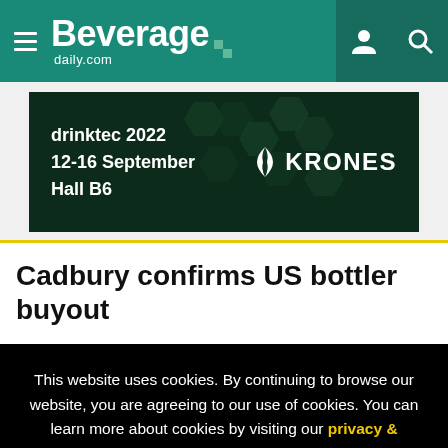Beverage daily.com
[Figure (infographic): drinktec 2022 advertisement banner showing event details: 12-16 September, Hall B6, with KRONES logo on dark green background with hexagonal pattern]
Cadbury confirms US bottler buyout
This website uses cookies. By continuing to browse our website, you are agreeing to our use of cookies. You can learn more about cookies by visiting our privacy & cookies policy page.
I Agree